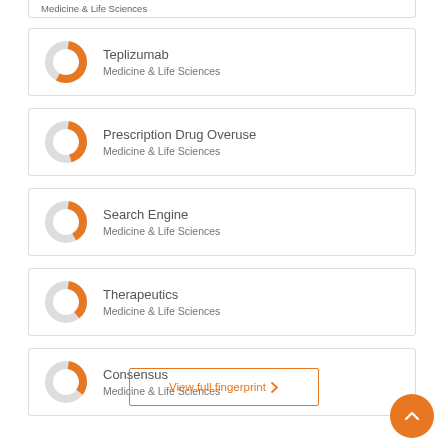Medicine & Life Sciences (partial, clipped)
Teplizumab — Medicine & Life Sciences
Prescription Drug Overuse — Medicine & Life Sciences
Search Engine — Medicine & Life Sciences
Therapeutics — Medicine & Life Sciences
Consensus — Medicine & Life Sciences
View full fingerprint >